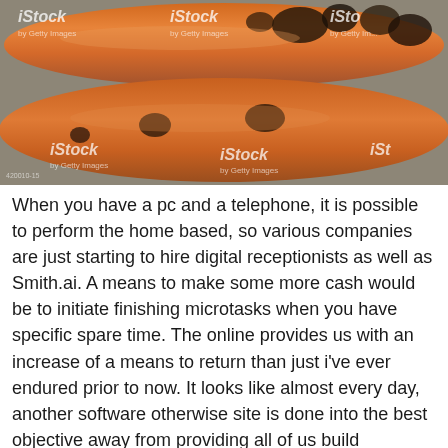[Figure (photo): Close-up photo of two grilled/cooked sausages with charred spots, with iStock watermark overlaid multiple times across the image.]
When you have a pc and a telephone, it is possible to perform the home based, so various companies are just starting to hire digital receptionists as well as Smith.ai. A means to make some more cash would be to initiate finishing microtasks when you have specific spare time. The online provides us with an increase of a means to return than just i've ever endured prior to now. It looks like almost every day, another software otherwise site is done into the best objective away from providing all of us build otherwise conserve more money inside the imaginative suggests. GambleAware offer members as well as their